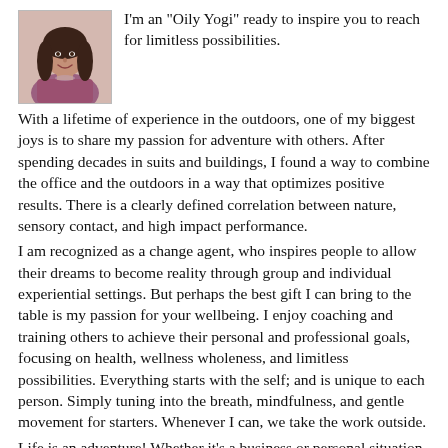[Figure (photo): Portrait photo of a woman with long dark hair, wearing a patterned top, smiling]
I'm an "Oily Yogi" ready to inspire you to reach for limitless possibilities.
With a lifetime of experience in the outdoors, one of my biggest joys is to share my passion for adventure with others. After spending decades in suits and buildings, I found a way to combine the office and the outdoors in a way that optimizes positive results. There is a clearly defined correlation between nature, sensory contact, and high impact performance.
I am recognized as a change agent, who inspires people to allow their dreams to become reality through group and individual experiential settings. But perhaps the best gift I can bring to the table is my passion for your wellbeing. I enjoy coaching and training others to achieve their personal and professional goals, focusing on health, wellness wholeness, and limitless possibilities. Everything starts with the self; and is unique to each person. Simply tuning into the breath, mindfulness, and gentle movement for starters. Whenever I can, we take the work outside.
Life is an adventure! Whether it's a business or personal situation, career path or life path, As Chief Experience Officer of PR Brady AdVentures, my passion is Inspiring Limitless Possibilities, Bringing Out Your Optimum Life...